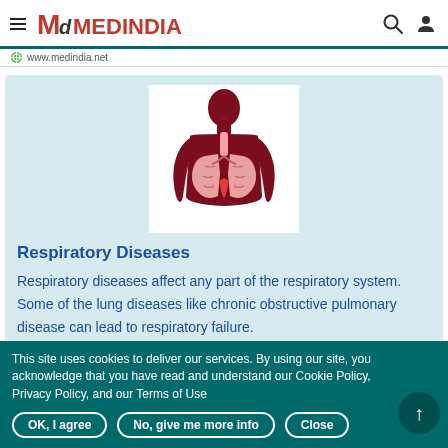≡ Md MEDINDIA
www.medindia.net
[Figure (illustration): Medical illustration of a human silhouette with respiratory system highlighted — lungs, trachea, and airways shown in red/pink on a dark red body silhouette against white background]
Respiratory Diseases
Respiratory diseases affect any part of the respiratory system. Some of the lung diseases like chronic obstructive pulmonary disease can lead to respiratory failure.
This site uses cookies to deliver our services. By using our site, you acknowledge that you have read and understand our Cookie Policy, Privacy Policy, and our Terms of Use
OK, I agree   No, give me more info   Close